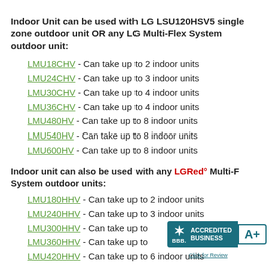Indoor Unit can be used with LG LSU120HSV5 single zone outdoor unit OR any LG Multi-Flex System outdoor unit:
LMU18CHV - Can take up to 2 indoor units
LMU24CHV - Can take up to 3 indoor units
LMU30CHV - Can take up to 4 indoor units
LMU36CHV - Can take up to 4 indoor units
LMU480HV - Can take up to 8 indoor units
LMU540HV - Can take up to 8 indoor units
LMU600HV - Can take up to 8 indoor units
Indoor unit can also be used with any LGRed° Multi-F System outdoor units:
LMU180HHV - Can take up to 2 indoor units
LMU240HHV - Can take up to 3 indoor units
LMU300HHV - Can take up to [partially obscured]
LMU360HHV - Can take up to [partially obscured]
LMU420HHV - Can take up to 6 indoor units
[Figure (logo): BBB Accredited Business badge with A+ rating]